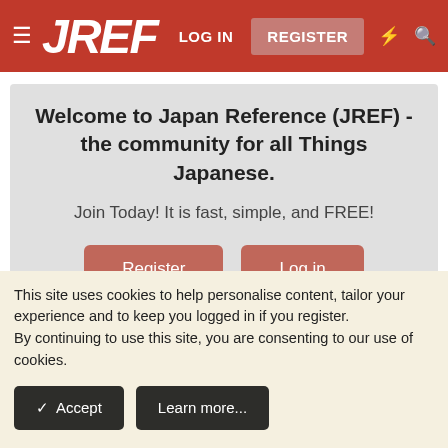JREF — LOG IN | REGISTER
Welcome to Japan Reference (JREF) - the community for all Things Japanese.
Join Today! It is fast, simple, and FREE!
Register  Log in
< Science and Technology
Technology
This site uses cookies to help personalise content, tailor your experience and to keep you logged in if you register.
By continuing to use this site, you are consenting to our use of cookies.
✓ Accept   Learn more...